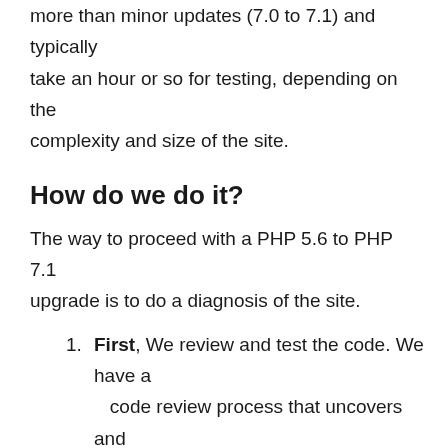more than minor updates (7.0 to 7.1) and typically take an hour or so for testing, depending on the complexity and size of the site.
How do we do it?
The way to proceed with a PHP 5.6 to PHP 7.1 upgrade is to do a diagnosis of the site.
First, We review and test the code. We have a code review process that uncovers and deprecated code or functionality
Then, we apply fixes to the code to bring it up to date, and functional.
Finally, we perform a security test on the site